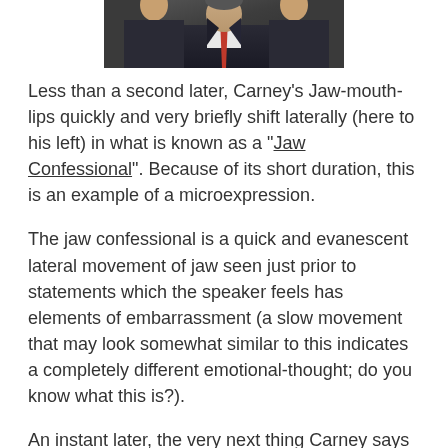[Figure (photo): Photo of a man in a dark suit with a red tie, cropped at chest/neck level, against a dark background.]
Less than a second later, Carney's Jaw-mouth-lips quickly and very briefly shift laterally (here to his left) in what is known as a "Jaw Confessional". Because of its short duration, this is an example of a microexpression.
The jaw confessional is a quick and evanescent lateral movement of jaw seen just prior to statements which the speaker feels has elements of embarrassment (a slow movement that may look somewhat similar to this indicates a completely different emotional-thought; do you know what this is?).
An instant later, the very next thing Carney says is, "...and we never did, but they're going to be even lower because of the challenges we've had with the website ..." He is of course embarrassed at this statement and such a conclusion is not surprising in this particular example. There are many times however, when a jaw confessional is seen in settings that will contradict the verbal message. When the verbal and